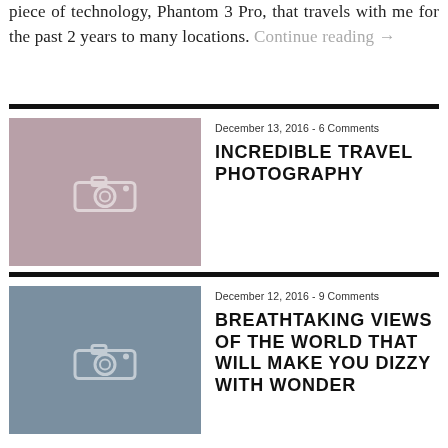piece of technology, Phantom 3 Pro, that travels with me for the past 2 years to many locations. Continue reading →
[Figure (photo): Santorini-style white buildings on cliff at sunset with pink/purple sky]
December 13, 2016 - 6 Comments
INCREDIBLE TRAVEL PHOTOGRAPHY
[Figure (photo): Breathtaking mountain canyon view with sunburst and snowy peaks]
December 12, 2016 - 9 Comments
BREATHTAKING VIEWS OF THE WORLD THAT WILL MAKE YOU DIZZY WITH WONDER